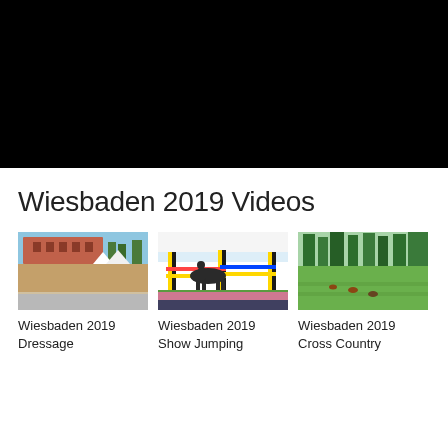[Figure (screenshot): Black video player area at the top of the page]
Wiesbaden 2019 Videos
[Figure (photo): Thumbnail: Wiesbaden 2019 Dressage - outdoor arena with historic building in background]
Wiesbaden 2019
Dressage
[Figure (photo): Thumbnail: Wiesbaden 2019 Show Jumping - horse and rider mid-jump over colorful fence]
Wiesbaden 2019
Show Jumping
[Figure (photo): Thumbnail: Wiesbaden 2019 Cross Country - green field with trees]
Wiesbaden 2019
Cross Country